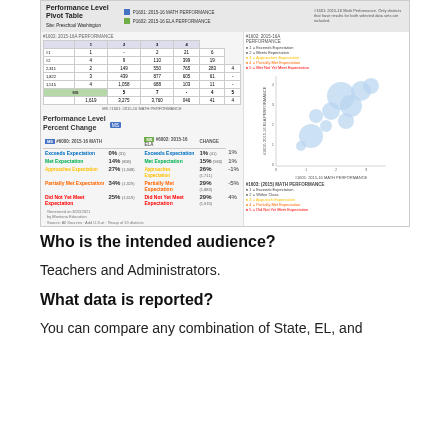[Figure (screenshot): Screenshot of a Performance Level Pivot Table and Performance Level Percent Change dashboard showing math and ELA performance data for 2015-16, including a pivot table with student counts by performance level, a bubble/scatter chart comparing math and ELA performance, and a percent change table showing Exceeds Expectation 0%/1%/1%, Met Expectation 14%/15%/1%, Approaches Expectation 27%/26%/-1%, Partially Met Expectation 34%/29%/-5%, Did Not Yet Meet Expectation 25%/29%/4%.]
Who is the intended audience?
Teachers and Administrators.
What data is reported?
You can compare any combination of State, EL, and